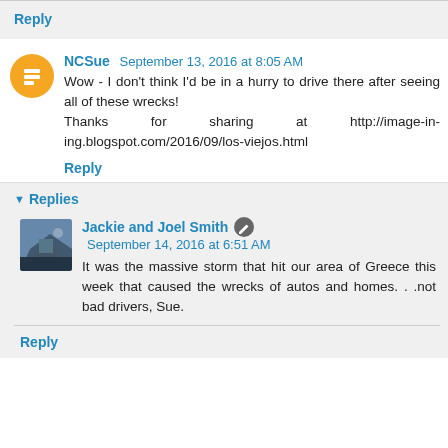Reply
NCSue  September 13, 2016 at 8:05 AM
Wow - I don't think I'd be in a hurry to drive there after seeing all of these wrecks!
Thanks for sharing at http://image-in-ing.blogspot.com/2016/09/los-viejos.html
Reply
▾ Replies
Jackie and Joel Smith  September 14, 2016 at 6:51 AM
It was the massive storm that hit our area of Greece this week that caused the wrecks of autos and homes. . .not bad drivers, Sue.
Reply